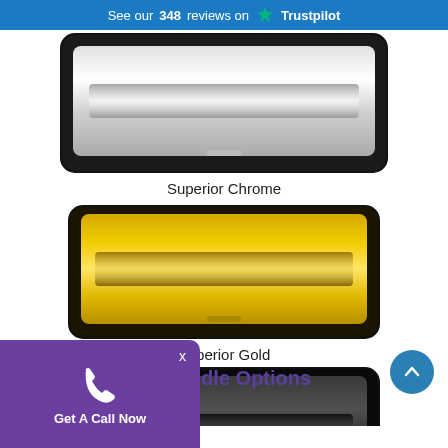See our 348 reviews on Trustpilot
[Figure (photo): Superior Chrome letterbox/mail slot, shiny silver chrome finish with black frame]
Superior Chrome
[Figure (photo): Superior Gold letterbox/mail slot, shiny gold finish with dark frame]
Superior Gold
[Figure (photo): Superior Black letterbox/mail slot, glossy black finish with dark frame]
Superior Black
r Handle Options
[Figure (infographic): Purple call widget with phone icon and Get A Call Now text, plus blue scroll-to-top arrow button]